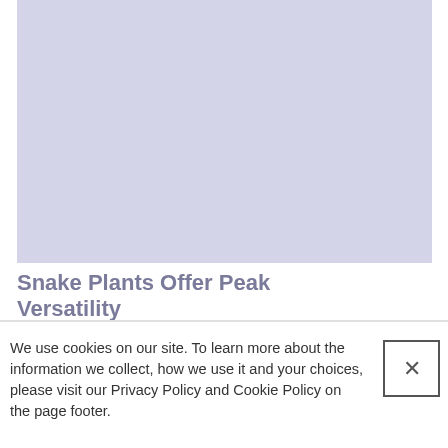[Figure (photo): Large image placeholder with a light blue-grey/lavender background, no visible content]
Snake Plants Offer Peak Versatility
We use cookies on our site. To learn more about the information we collect, how we use it and your choices, please visit our Privacy Policy and Cookie Policy on the page footer.